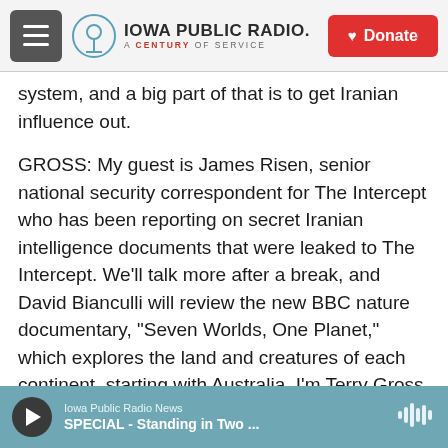Iowa Public Radio — A Century of Service | Donate
system, and a big part of that is to get Iranian influence out.
GROSS: My guest is James Risen, senior national security correspondent for The Intercept who has been reporting on secret Iranian intelligence documents that were leaked to The Intercept. We'll talk more after a break, and David Bianculli will review the new BBC nature documentary, "Seven Worlds, One Planet," which explores the land and creatures of each continent, starting with Australia. I'm Terry Gross, and this is FRESH AIR.
(SOUNDBITE OF AVISHAI COHEN'S "FACE ME")
Iowa Public Radio News | SPECIAL - Standing in Two ...